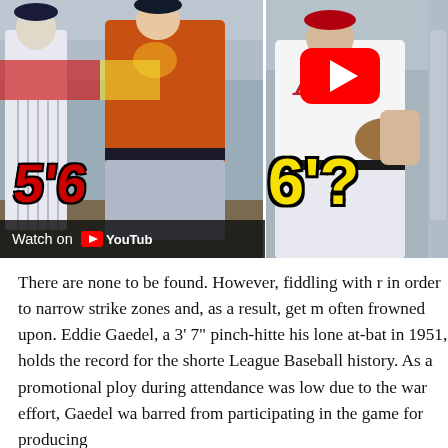[Figure (screenshot): YouTube video thumbnail showing baseball players. Left panel: a New York Yankees player and a Houston Astros player with a red '5'6' height label and a 'Watch on YouTube' bar at bottom. Right panel: an Atlanta Braves player with a yellow '6'?' height label and a YouTube play button overlay.]
There are none to be found. However, fiddling with r in order to narrow strike zones and, as a result, get m often frowned upon. Eddie Gaedel, a 3' 7" pinch-hitte his lone at-bat in 1951, holds the record for the shorte League Baseball history. As a promotional ploy during attendance was low due to the war effort, Gaedel wa barred from participating in the game for producing